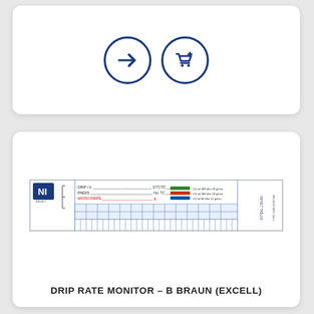[Figure (illustration): Two circular icon buttons with dark blue outlines: left button has a right-pointing arrow, right button has a shopping cart with a plus sign.]
[Figure (photo): A drip rate monitor chart/label for B Braun (Excell) medical device — a narrow horizontal card showing the NUI logo, colored reference bands (red, green), grid lines, and small printed text.]
DRIP RATE MONITOR – B BRAUN (EXCELL)